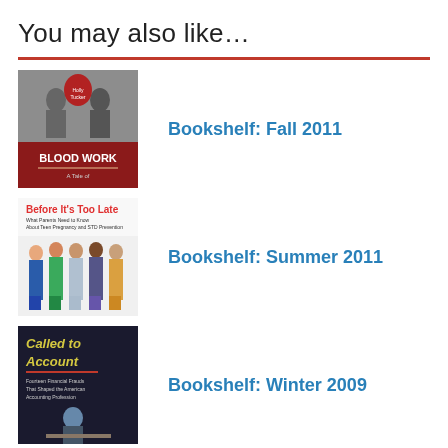You may also like…
[Figure (illustration): Book cover for Blood Work with historical medical imagery and red accents]
Bookshelf: Fall 2011
[Figure (illustration): Book cover for Before It's Too Late - What Parents Need to Know About Teen Pregnancy and STD Prevention, showing group of teenagers]
Bookshelf: Summer 2011
[Figure (illustration): Book cover for Called to Account - Fourteen Financial Frauds That Shaped the American Accounting Profession]
Bookshelf: Winter 2009